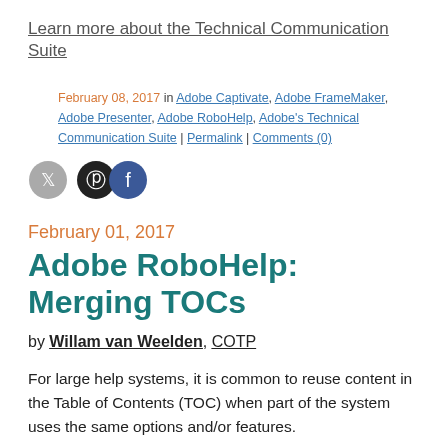Learn more about the Technical Communication Suite
February 08, 2017 in Adobe Captivate, Adobe FrameMaker, Adobe Presenter, Adobe RoboHelp, Adobe's Technical Communication Suite | Permalink | Comments (0)
[Figure (illustration): Three social media icons: Twitter (grey circle), Pinterest (dark circle), Facebook (blue circle)]
February 01, 2017
Adobe RoboHelp: Merging TOCs
by Willam van Weelden, COTP
For large help systems, it is common to reuse content in the Table of Contents (TOC) when part of the system uses the same options and/or features.
For instance, you might need to include a common introduction for several modules. With RoboHelp, you can include a topic in multiple locations in the TOC, allowing for easy reuse.
Check out the image below. Notice that the Getting